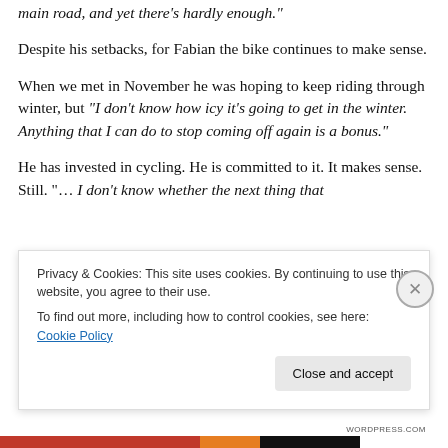main road, and yet there’s hardly enough.”
Despite his setbacks, for Fabian the bike continues to make sense.
When we met in November he was hoping to keep riding through winter, but “I don’t know how icy it’s going to get in the winter. Anything that I can do to stop coming off again is a bonus.”
He has invested in cycling. He is committed to it. It makes sense. Still. “… I don’t know whether the next thing that
Privacy & Cookies: This site uses cookies. By continuing to use this website, you agree to their use.
To find out more, including how to control cookies, see here: Cookie Policy